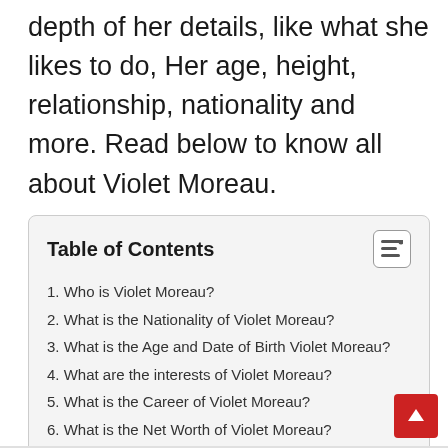depth of her details, like what she likes to do, Her age, height, relationship, nationality and more. Read below to know all about Violet Moreau.
| 1. Who is Violet Moreau? |
| 2. What is the Nationality of Violet Moreau? |
| 3. What is the Age and Date of Birth Violet Moreau? |
| 4. What are the interests of Violet Moreau? |
| 5. What is the Career of Violet Moreau? |
| 6. What is the Net Worth of Violet Moreau? |
| 7. What is the Height and Weight of Violet Moreau? |
| 8. Frequently Asked Questions About Violet Moreau |